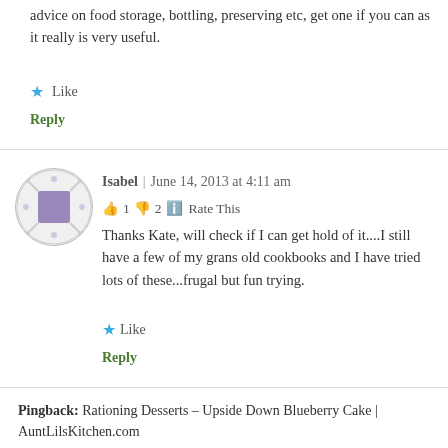advice on food storage, bottling, preserving etc, get one if you can as it really is very useful.
★ Like
Reply
Isabel | June 14, 2013 at 4:11 am
👍 1 👎 2 ℹ Rate This
Thanks Kate, will check if I can get hold of it....I still have a few of my grans old cookbooks and I have tried lots of these...frugal but fun trying.
★ Like
Reply
Pingback: Rationing Desserts – Upside Down Blueberry Cake | AuntLilsKitchen.com